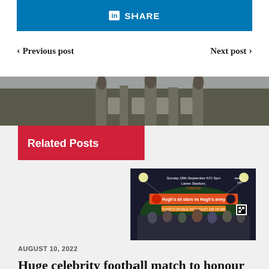[Figure (screenshot): LinkedIn share button bar with 'in' icon and SHARE text on blue background]
< Previous post   Next post >
[Figure (photo): Photograph of a stone building with classical architecture and statues]
Related Posts
[Figure (photo): Celebrity football match promotional image: Hugh's all stars vs Hugh's army, Sunday 18th September K/O 3pm, Lanex Stadium, showing group photo of players]
AUGUST 10, 2022
Huge celebrity football match to honour